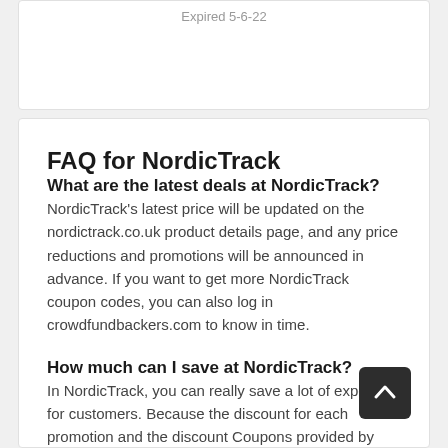Expired 5-6-22
FAQ for NordicTrack
What are the latest deals at NordicTrack?
NordicTrack's latest price will be updated on the nordictrack.co.uk product details page, and any price reductions and promotions will be announced in advance. If you want to get more NordicTrack coupon codes, you can also log in crowdfundbackers.com to know in time.
How much can I save at NordicTrack?
In NordicTrack, you can really save a lot of expenses for customers. Because the discount for each promotion and the discount Coupons provided by